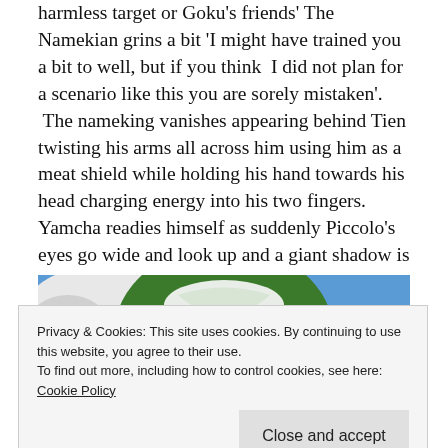harmless target or Goku's friends' The Namekian grins a bit 'I might have trained you a bit to well, but if you think  I did not plan for a scenario like this you are sorely mistaken'.  The nameking vanishes appearing behind Tien twisting his arms all across him using him as a meat shield while holding his hand towards his head charging energy into his two fingers. Yamcha readies himself as suddenly Piccolo's eyes go wide and look up and a giant shadow is cast over Yamcha.
[Figure (illustration): Anime illustration showing a green-skinned character (Piccolo) in close-up with blue background]
Privacy & Cookies: This site uses cookies. By continuing to use this website, you agree to their use.
To find out more, including how to control cookies, see here: Cookie Policy